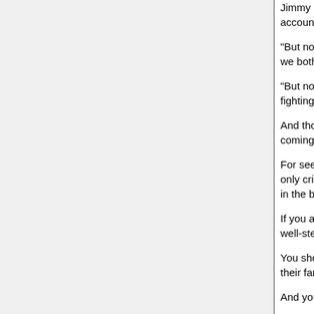Jimmy McGovern said: 'All the families ever wanted was to hold someone accountable for the deaths of their loved ones.
"But no one has said sorry. Now that runs contrary to everything. If I hurt you we both say 'Sorry'. It's a basic human response.
"But not in tragedies of this scale. They can't say sorry because they are still fighting."
And those of us who walked through that open gate and had the privilege of coming home alive owe them.
For seeking truth in the face of vicious lies and vilification, for people whose only crime was being naive enough to turn up to watch a football match in the belief that their safety was paramount.
If you are a football fan you should remember that they gave you safe, well-stewarded, all-seater stadiums.
You should remember the agony they went through in the first minute, and their families went through in the second minute.
And you should never forget that for English
[Figure (photo): Photograph showing a red brick wall on the left side and dark metal fence/gate structure on the right side]